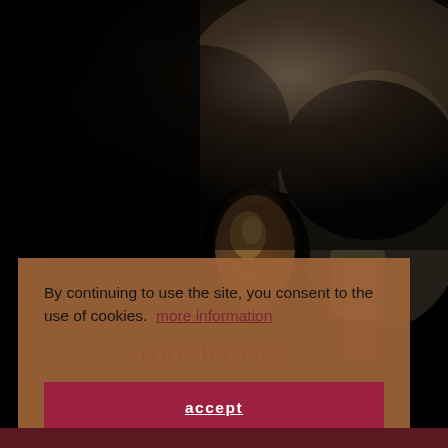[Figure (photo): Dark silhouette of a person drinking from a wine bottle, held up toward face; bottle interior shows dark red wine; background is dark with some lighter areas on right side.]
By continuing to use the site, you consent to the use of cookies. more information
Our WINES
accept